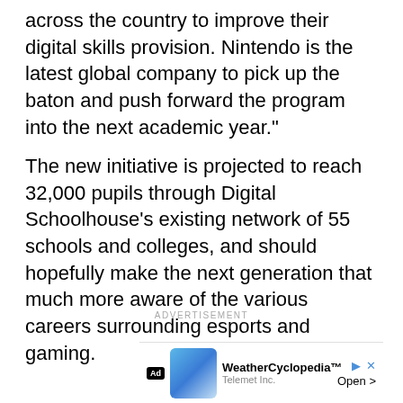across the country to improve their digital skills provision. Nintendo is the latest global company to pick up the baton and push forward the program into the next academic year."
The new initiative is projected to reach 32,000 pupils through Digital Schoolhouse's existing network of 55 schools and colleges, and should hopefully make the next generation that much more aware of the various careers surrounding esports and gaming.
ADVERTISEMENT
[Figure (other): Advertisement placeholder box (light grey rounded rectangle) with a share button (dark circle with share icon) to its left]
[Figure (other): Bottom advertisement banner: Ad badge, app image thumbnail, WeatherCyclopedia app name, Telemet Inc. subtitle, Open button, close/skip arrows]